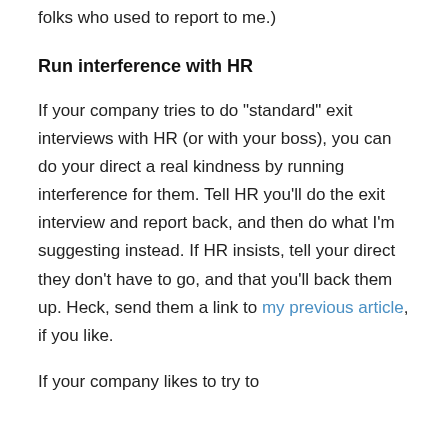folks who used to report to me.)
Run interference with HR
If your company tries to do "standard" exit interviews with HR (or with your boss), you can do your direct a real kindness by running interference for them. Tell HR you'll do the exit interview and report back, and then do what I'm suggesting instead. If HR insists, tell your direct they don't have to go, and that you'll back them up. Heck, send them a link to my previous article, if you like.
If your company likes to try to